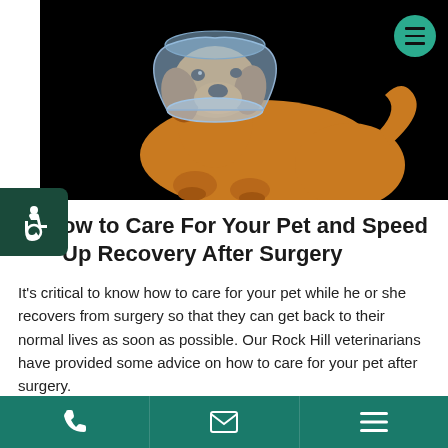[Figure (photo): Golden retriever dog wearing a blue plastic elizabethan collar (cone of shame) lying down against a black background]
How to Care For Your Pet and Speed Up Recovery After Surgery
It's critical to know how to care for your pet while he or she recovers from surgery so that they can get back to their normal lives as soon as possible. Our Rock Hill veterinarians have provided some advice on how to care for your pet after surgery.
Phone | Email | Menu navigation bar